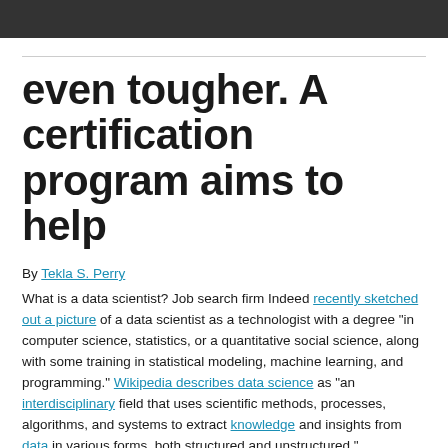even tougher. A certification program aims to help
By Tekla S. Perry
What is a data scientist? Job search firm Indeed recently sketched out a picture of a data scientist as a technologist with a degree “in computer science, statistics, or a quantitative social science, along with some training in statistical modeling, machine learning, and programming.” Wikipedia describes data science as “an interdisciplinary field that uses scientific methods, processes, algorithms, and systems to extract knowledge and insights from data in various forms, both structured and unstructured.”